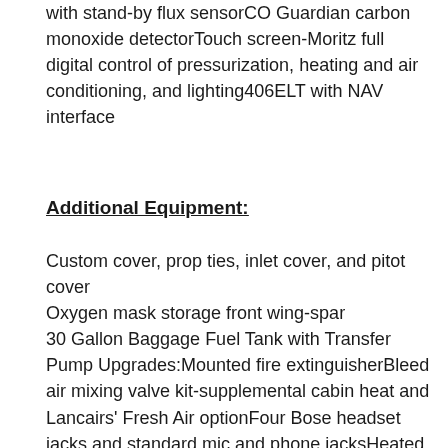with stand-by flux sensorCO Guardian carbon monoxide detectorTouch screen-Moritz full digital control of pressurization, heating and air conditioning, and lighting406ELT with NAV interface
Additional Equipment:
Custom cover, prop ties, inlet cover, and pitot cover Oxygen mask storage front wing-spar 30 Gallon Baggage Fuel Tank with Transfer Pump Upgrades:Mounted fire extinguisherBleed air mixing valve kit-supplemental cabin heat and Lancairs' Fresh Air optionFour Bose headset jacks and standard mic and phone jacksHeated Pitot